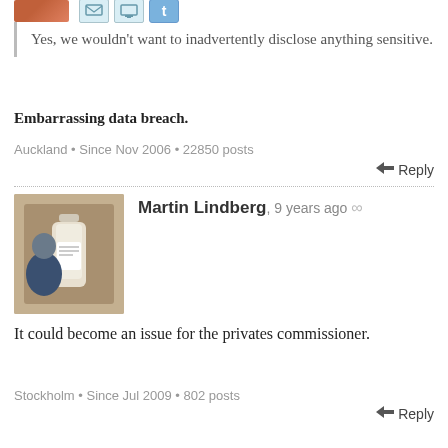[Figure (other): Partial view of top avatar (cropped), with small icon buttons (email, monitor, twitter) visible at top of page]
Yes, we wouldn't want to inadvertently disclose anything sensitive.
Embarrassing data breach.
Auckland • Since Nov 2006 • 22850 posts
Reply
[Figure (photo): User avatar photo of Martin Lindberg showing a bottle of liquor held by a person]
Martin Lindberg, 9 years ago ∞
It could become an issue for the privates commissioner.
Stockholm • Since Jul 2009 • 802 posts
Reply
[Figure (other): User avatar placeholder for Sacha (grey speech bubble shape)]
Sacha, 9 years ago ∞
breaches
Ak • Since May 2008 • 19745 posts